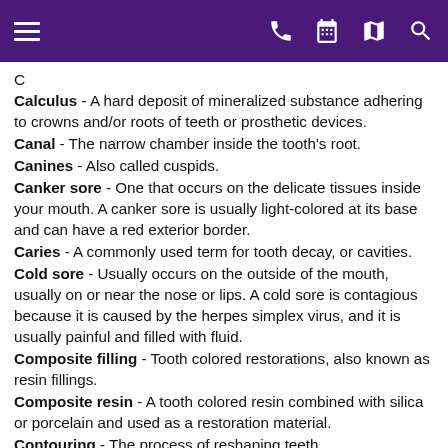Navigation bar with menu, phone, calendar, map, and search icons
C
Calculus - A hard deposit of mineralized substance adhering to crowns and/or roots of teeth or prosthetic devices.
Canal - The narrow chamber inside the tooth's root.
Canines - Also called cuspids.
Canker sore - One that occurs on the delicate tissues inside your mouth. A canker sore is usually light-colored at its base and can have a red exterior border.
Caries - A commonly used term for tooth decay, or cavities.
Cold sore - Usually occurs on the outside of the mouth, usually on or near the nose or lips. A cold sore is contagious because it is caused by the herpes simplex virus, and it is usually painful and filled with fluid.
Composite filling - Tooth colored restorations, also known as resin fillings.
Composite resin - A tooth colored resin combined with silica or porcelain and used as a restoration material.
Contouring - The process of reshaping teeth.
Crown - An artificial tooth replacement that restores missing tooth structure by surrounding the remaining coronal tooth structure. It is